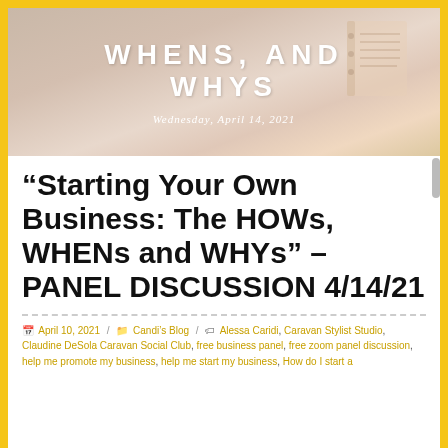[Figure (photo): Banner image with text overlay: 'WHENS, AND WHYS' in large white uppercase letters, and 'Wednesday, April 14, 2021' in white italic text below. Background shows a muted beige/taupe photo of a desk/planner scene.]
“Starting Your Own Business: The HOWs, WHENs and WHYs” – PANEL DISCUSSION 4/14/21
April 10, 2021 / Candi’s Blog / Alessa Caridi, Caravan Stylist Studio, Claudine DeSola Caravan Social Club, free business panel, free zoom panel discussion, help me promote my business, help me start my business, How do I start a